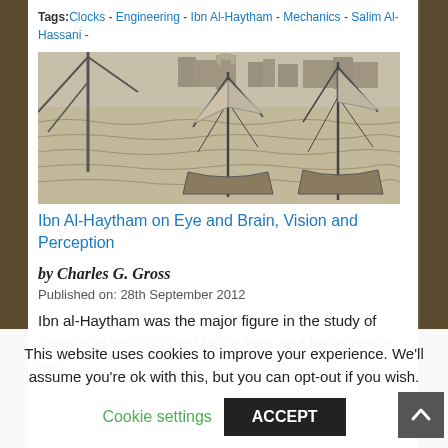Tags: Clocks - Engineering - Ibn Al-Haytham - Mechanics - Salim Al-Hassani -
[Figure (illustration): Historical engraving or illustration depicting a harbor scene with sailing ships, cranes, and a city skyline in the background. Black and white sketch style.]
Ibn Al-Haytham on Eye and Brain, Vision and Perception
by Charles G. Gross
Published on: 28th September 2012
Ibn al-Haytham was the major figure in the study of optics and vision in the Middle Ages and his influence was
This website uses cookies to improve your experience. We'll assume you're ok with this, but you can opt-out if you wish.